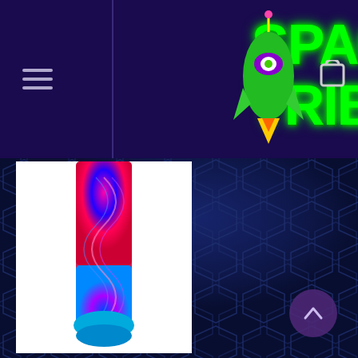[Figure (screenshot): Space Tribe website screenshot showing navigation bar with hamburger menu, Space Tribe logo in green neon text, alien spaceship graphic, shopping cart icon, product image of psychedelic patterned leggings/socks, and hexagonal dark blue background pattern with scroll-to-top button]
SPACE TRIBE
[Figure (photo): Product image showing psychedelic spiral patterned leggings/socks in red, pink, blue tones on white background]